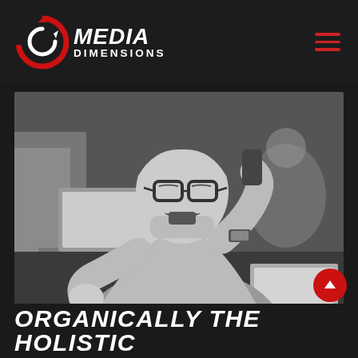MEDIA DIMENSIONS
[Figure (photo): Black and white photograph of a frustrated man wearing glasses, talking on a phone at a desk with a laptop open in front of him, gesturing with his free hand. Another person is visible blurred in the background.]
ORGANICALLY THE HOLISTIC